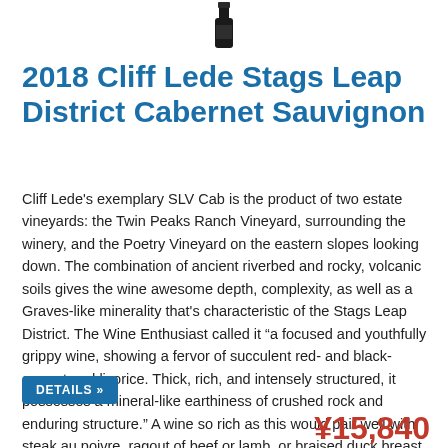[Figure (photo): Dark wine bottle, partially cropped at top of page]
2018 Cliff Lede Stags Leap District Cabernet Sauvignon
Cliff Lede's exemplary SLV Cab is the product of two estate vineyards: the Twin Peaks Ranch Vineyard, surrounding the winery, and the Poetry Vineyard on the eastern slopes looking down. The combination of ancient riverbed and rocky, volcanic soils gives the wine awesome depth, complexity, as well as a Graves-like minerality that's characteristic of the Stags Leap District. The Wine Enthusiast called it “a focused and youthfully grippy wine, showing a fervor of succulent red- and black-currant and licorice. Thick, rich, and intensely structured, it possesses a mineral-like earthiness of crushed rock and enduring structure.” A wine so rich as this would pair well with steak au poivre, ragout of beef or lamb, or braised duck breast.
DETAILS »
¥15,840